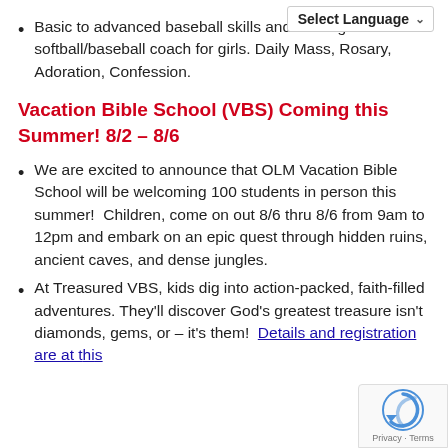Basic to advanced baseball skills and training. Women's softball/baseball coach for girls. Daily Mass, Rosary, Adoration, Confession.
Vacation Bible School (VBS) Coming this Summer! 8/2 – 8/6
We are excited to announce that OLM Vacation Bible School will be welcoming 100 students in person this summer!  Children, come on out 8/6 thru 8/6 from 9am to 12pm and embark on an epic quest through hidden ruins, ancient caves, and dense jungles.
At Treasured VBS, kids dig into action-packed, faith-filled adventures. They'll discover God's greatest treasure isn't diamonds, gems, or – it's them!  Details and registration are at this